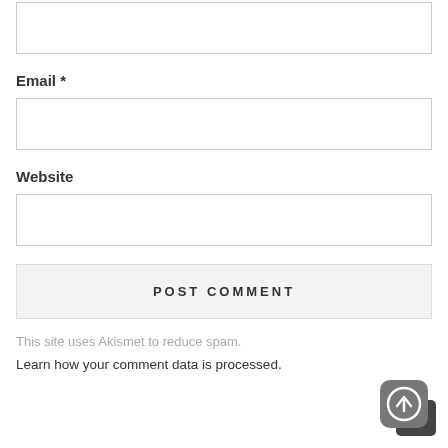[Figure (screenshot): Empty text input box at the top of the page (partially cropped)]
Email *
[Figure (screenshot): Empty email input field]
Website
[Figure (screenshot): Empty website input field]
POST COMMENT
This site uses Akismet to reduce spam.
Learn how your comment data is processed.
[Figure (other): Circular arrow up icon button (scroll to top) with dark shadow overlay in bottom right corner]